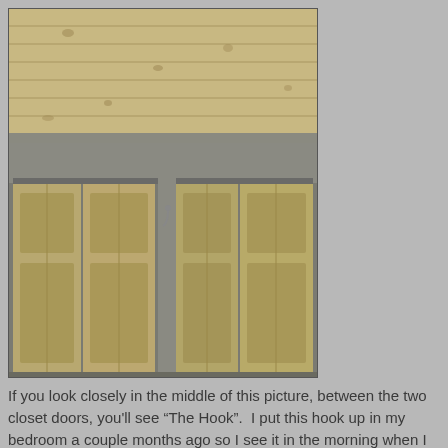[Figure (photo): Interior photo of a bedroom showing two sets of wooden closet doors (bi-fold style, light pine wood) with a wooden plank ceiling above. Between the two closet doors in the middle of the image is a small hook mounted on the wall.]
If you look closely in the middle of this picture, between the two closet doors, you'll see “The Hook”.  I put this hook up in my bedroom a couple months ago so I see it in the morning when I wake and just before I go to sleep every night.  My wife cracks up laughing when she looks at it because I was